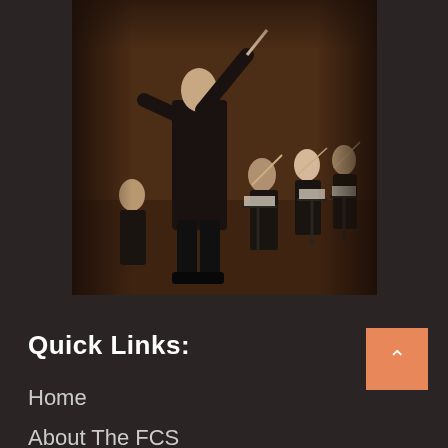[Figure (photo): Orchestra conductor in black suit with baton raised, musicians with string instruments visible in background on a warm brown-toned stage]
Quick Links:
Home
About The FCS